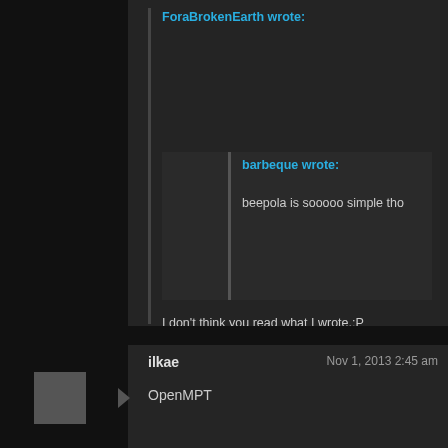ForaBrokenEarth wrote:
barbeque wrote:
beepola is sooooo simple tho
I don't think you read what I wrote.:P
but I did. It's very easy to make listenable (for 1bit) tones out of that tracker. it also depends entirely on what engine you're using.
ilkae
Nov 1, 2013 2:45 am
OpenMPT